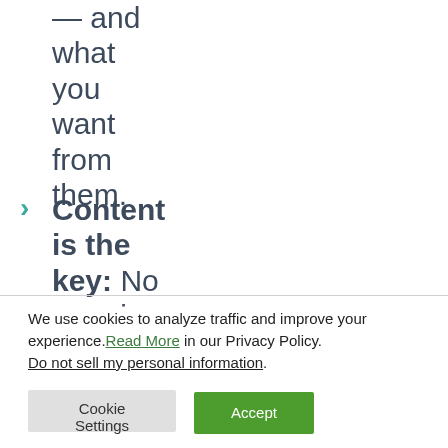— and what you want from them.
Content is the key: No surprise
We use cookies to analyze traffic and improve your experience. Read More in our Privacy Policy.
Do not sell my personal information.
Cookie Settings   Accept